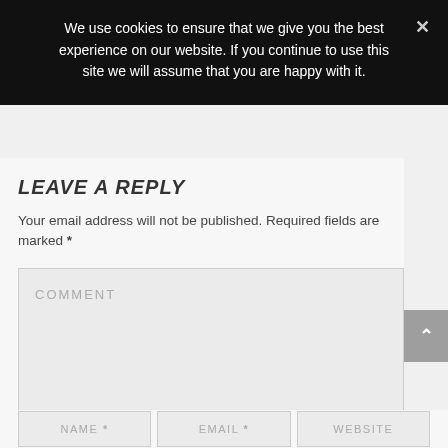We use cookies to ensure that we give you the best experience on our website. If you continue to use this site we will assume that you are happy with it.
LEAVE A REPLY
Your email address will not be published. Required fields are marked *
COMMENT
NAME *
EMAIL *
WEBSITE